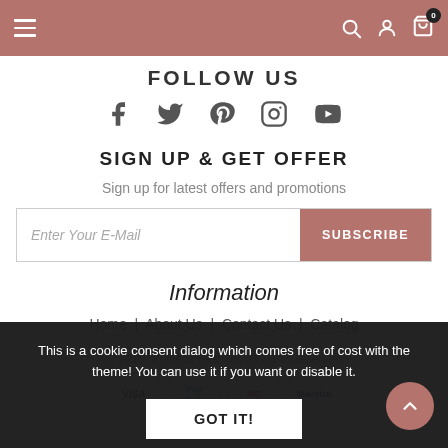Navigation bar with hamburger menu, search, account, and cart icons
FOLLOW US
[Figure (infographic): Social media icons: Facebook, Twitter, Pinterest, Instagram, YouTube]
SIGN UP & GET OFFER
Sign up for latest offers and promotions
Enter Your E-Mail | SUBSCRIBE
Information
Home  |  About Us  |  Contact Us  |  Catalog
This is a cookie consent dialog which comes free of cost with the theme! You can use it if you want or disable it.
GOT IT!
© 2020, Buyless Fashion. All rights reserved
[Figure (infographic): Payment icons: VISA, PayPal, Mastercard, Maestro]